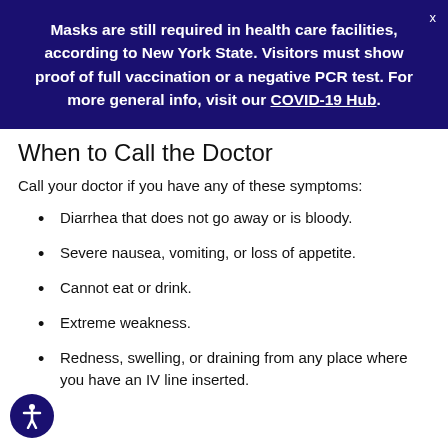Masks are still required in health care facilities, according to New York State. Visitors must show proof of full vaccination or a negative PCR test. For more general info, visit our COVID-19 Hub.
When to Call the Doctor
Call your doctor if you have any of these symptoms:
Diarrhea that does not go away or is bloody.
Severe nausea, vomiting, or loss of appetite.
Cannot eat or drink.
Extreme weakness.
Redness, swelling, or draining from any place where you have an IV line inserted.